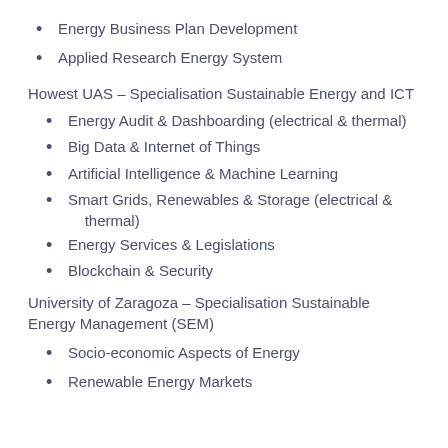Energy Business Plan Development
Applied Research Energy System
Howest UAS – Specialisation Sustainable Energy and ICT
Energy Audit & Dashboarding (electrical & thermal)
Big Data & Internet of Things
Artificial Intelligence & Machine Learning
Smart Grids, Renewables & Storage (electrical & thermal)
Energy Services & Legislations
Blockchain & Security
University of Zaragoza – Specialisation Sustainable Energy Management (SEM)
Socio-economic Aspects of Energy
Renewable Energy Markets